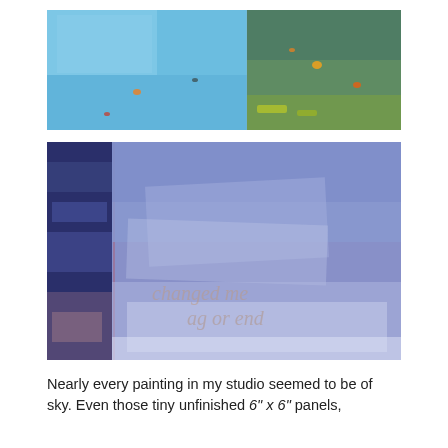[Figure (photo): Abstract painting showing two panels side by side. Left panel is bright sky blue with orange accent marks; right panel is teal-green with brushy orange and yellow marks. Horizontal landscape format, painterly texture throughout.]
[Figure (photo): Abstract painting in shades of blue and lavender with a vertical division on the left creating a dark navy section with swirling brushwork. The main field is pale blue-violet with broad gestural strokes. Faint text is embedded in the lower center reading 'changed me' and 'ag or end'. Horizontal landscape format, large.]
Nearly every painting in my studio seemed to be of sky. Even those tiny unfinished 6"x 6" panels,